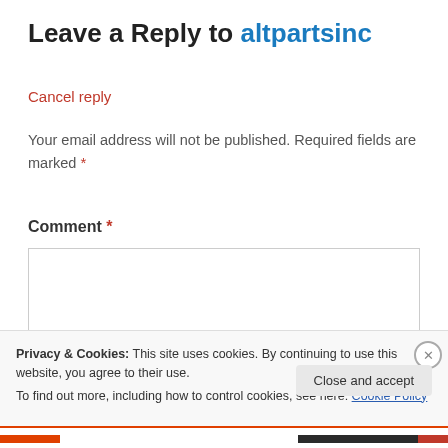Leave a Reply to altpartsinc
Cancel reply
Your email address will not be published. Required fields are marked *
Comment *
Privacy & Cookies: This site uses cookies. By continuing to use this website, you agree to their use.
To find out more, including how to control cookies, see here: Cookie Policy
Close and accept